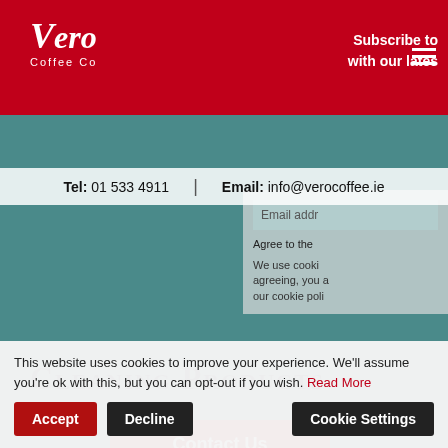[Figure (screenshot): Screenshot of Vero Coffee Co website showing a cleaning products page with a cookie consent banner overlay. The page has a red header with Vero Coffee Co logo, contact information bar, a background photo of coffee machines in a teal-colored space, a 'Cleaning Products' heading, a red Contact Us button, and a cookie consent bar at the bottom with Accept, Decline, and Cookie Settings buttons.]
Vero Coffee Co
Subscribe to with our lates
Tel: 01 533 4911  |  Email: info@verocoffee.ie
Cleaning Products
Contact Us
PHONE: 01 533 4911
Agree to the
We use cooki agreeing, you a our cookie poli
This website uses cookies to improve your experience. We'll assume you're ok with this, but you can opt-out if you wish. Read More
Accept
Decline
Cookie Settings